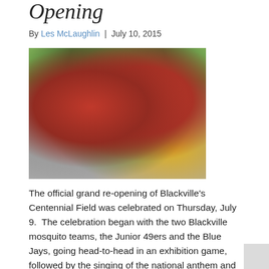Opening
By Les McLaughlin | July 10, 2015
[Figure (photo): Two people in red baseball uniforms cutting a ribbon at the grand re-opening of Blackville's Centennial Field, with children visible in the background.]
The official grand re-opening of Blackville's Centennial Field was celebrated on Thursday, July 9.  The celebration began with the two Blackville mosquito teams, the Junior 49ers and the Blue Jays, going head-to-head in an exhibition game, followed by the singing of the national anthem and ribbon cutting.  Jake Stewart led the crowd in a rendition...